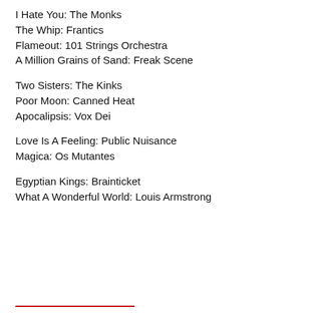I Hate You: The Monks
The Whip: Frantics
Flameout: 101 Strings Orchestra
A Million Grains of Sand: Freak Scene
Two Sisters: The Kinks
Poor Moon: Canned Heat
Apocalipsis: Vox Dei
Love Is A Feeling: Public Nuisance
Magica: Os Mutantes
Egyptian Kings: Brainticket
What A Wonderful World: Louis Armstrong